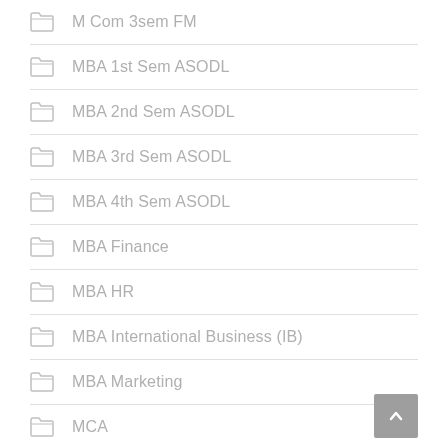M Com 3sem FM
MBA 1st Sem ASODL
MBA 2nd Sem ASODL
MBA 3rd Sem ASODL
MBA 4th Sem ASODL
MBA Finance
MBA HR
MBA International Business (IB)
MBA Marketing
MCA
MCA 2 Sem
MCA 3 sem Dec 2021